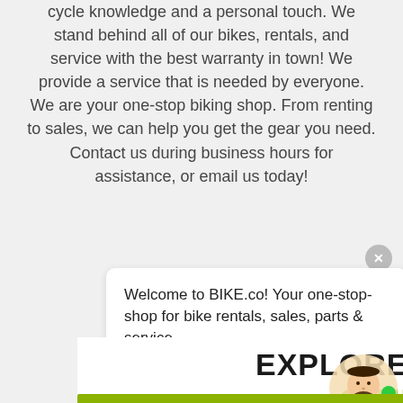cycle knowledge and a personal touch. We stand behind all of our bikes, rentals, and service with the best warranty in town! We provide a service that is needed by everyone. We are your one-stop biking shop. From renting to sales, we can help you get the gear you need. Contact us during business hours for assistance, or email us today!
Welcome to BIKE.co! Your one-stop-shop for bike rentals, sales, parts & service.
EXPLORE LOCAL CITIES